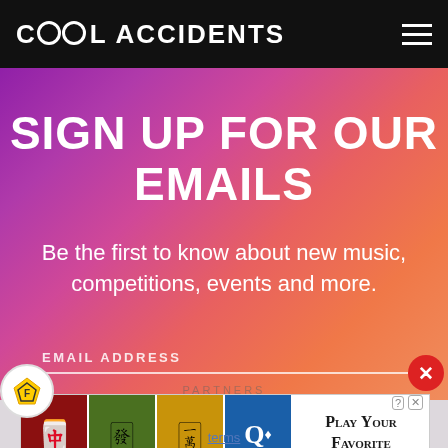Cool Accidents
SIGN UP FOR OUR EMAILS
Be the first to know about new music, competitions, events and more.
EMAIL ADDRESS
[Figure (screenshot): Email address input field with white underline on gradient background]
[Figure (screenshot): Frill widget badge circle icon bottom left]
[Figure (screenshot): Close button red circle with X top right of ad]
[Figure (screenshot): Mahjong game advertisement banner with tile images and Play Your Favorite Mahjong text]
Play Your Favorite Mahjong
terms